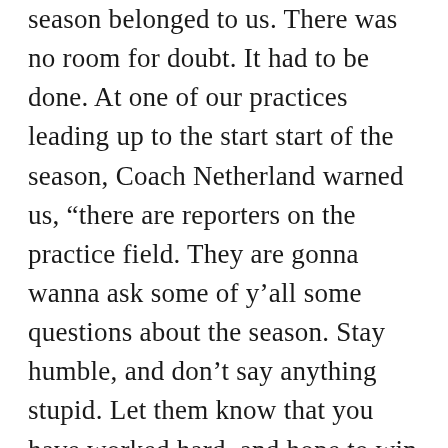season belonged to us. There was no room for doubt. It had to be done. At one of our practices leading up to the start start of the season, Coach Netherland warned us, “there are reporters on the practice field. They are gonna wanna ask some of y’all some questions about the season. Stay humble, and don’t say anything stupid. Let them know that you have worked hard, and hope to win a few games this season. Understand?” Understood. I heard exactly what he said and I understood it perfectly. The only problem was that I was a seventeen year old kid who, with the help of God and the universe, had already made up his mind